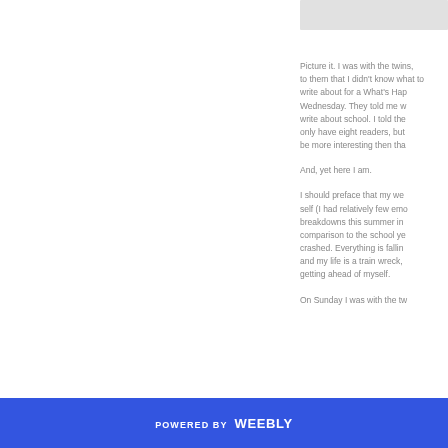[Figure (photo): Partial image visible at top right corner of the page]
Picture it. I was with the twins, to them that I didn't know what to write about for a What's Happening Wednesday. They told me write about school. I told them only have eight readers, but be more interesting than that.
And, yet here I am.
I should preface that my well self (I had relatively few emotional breakdowns this summer in comparison to the school year) has crashed. Everything is falling apart and my life is a train wreck, but getting ahead of myself.
On Sunday I was with the twins.
POWERED BY weebly